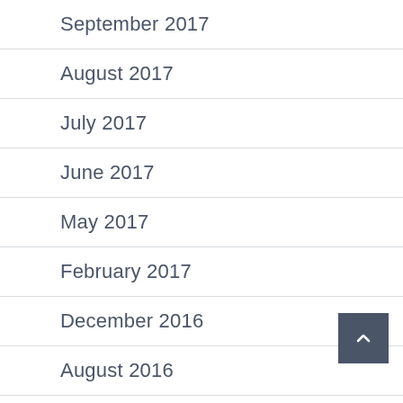September 2017
August 2017
July 2017
June 2017
May 2017
February 2017
December 2016
August 2016
July 2016